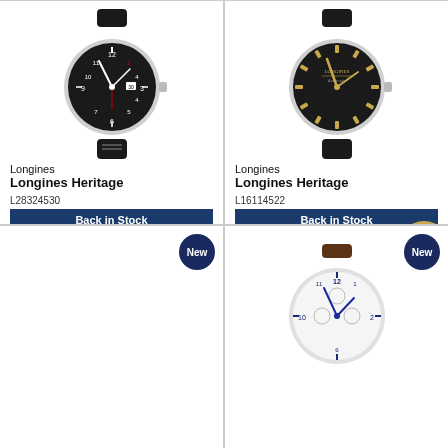[Figure (photo): Longines Heritage watch with black dial and white case on black leather strap]
Longines
Longines Heritage
L28324530
Back in Stock
Longines Heritage Automatic Men's Watch
¥169,900 (tax incl.)
[Figure (photo): Longines Heritage watch with black dial and gold indices on black leather strap]
Longines
Longines Heritage
L16114522
Back in Stock
Conquest Heritage Automatic Black Dial Unisex Watch
¥131,900 (tax incl.)
[Figure (photo): Empty product cell with New badge]
[Figure (photo): Longines watch with white dial and brown leather strap, partial view, with New badge]